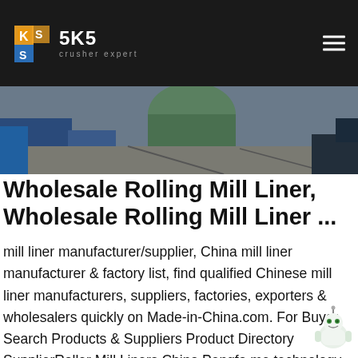SKS crusher expert
[Figure (photo): Industrial machinery/equipment photo used as hero banner image]
Wholesale Rolling Mill Liner, Wholesale Rolling Mill Liner ...
mill liner manufacturer/supplier, China mill liner manufacturer & factory list, find qualified Chinese mill liner manufacturers, suppliers, factories, exporters & wholesalers quickly on Made-in-China.com. For Buyer Search Products & Suppliers Product Directory SupplierRoller Mill Liners China Pengfa me technology co ltd - china supplier of shell, roller, girth gear, tyre ring, slide bearingengfa me technology co ltd - china supplier of shell, roller, girth gear, tyre ring, slide bearingliners for mill and crusher, kiln nose and end, grate ...Wholesale Rolling Mill Liner - Select high quality Wholesale Rolling Mill Liner products